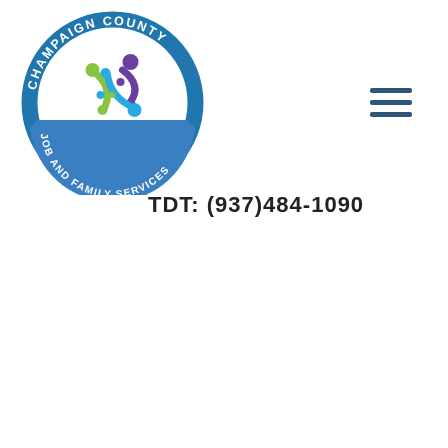[Figure (logo): Champaign County Job and Family Services circular logo with colorful figures and text around the border]
[Figure (other): Hamburger menu icon (three horizontal dark blue lines)]
TDT: (937)484-1090